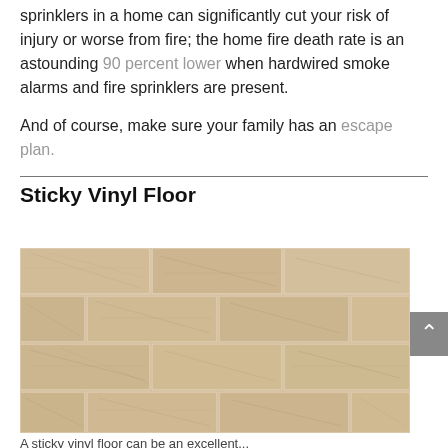sprinklers in a home can significantly cut your risk of injury or worse from fire; the home fire death rate is an astounding 90 percent lower when hardwired smoke alarms and fire sprinklers are present.
And of course, make sure your family has an escape plan.
Sticky Vinyl Floor
[Figure (photo): Close-up photograph of light beige/tan sticky vinyl floor planks arranged in an offset brick pattern, showing wood-grain texture.]
A sticky vinyl floor can be an excellent...